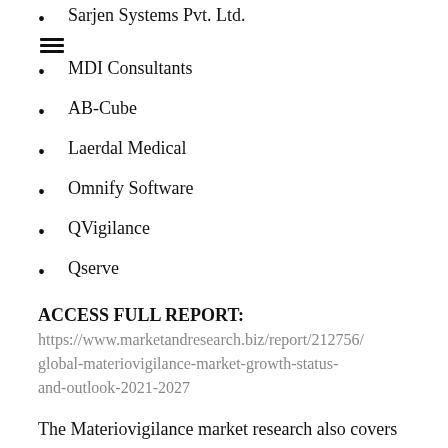Sarjen Systems Pvt. Ltd.
MDI Consultants
AB-Cube
Laerdal Medical
Omnify Software
QVigilance
Qserve
ACCESS FULL REPORT:
https://www.marketandresearch.biz/report/212756/global-materiovigilance-market-growth-status-and-outlook-2021-2027
The Materiovigilance market research also covers major market events that positively or negatively impact players, product offerings, revenue analysis,